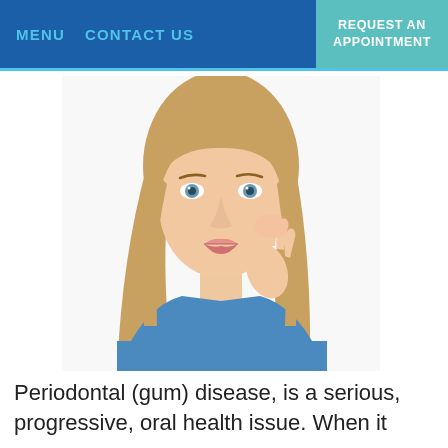MENU   CONTACT US   REQUEST AN APPOINTMENT
[Figure (photo): Woman with blonde hair wearing a blue top, holding her hand to her jaw/cheek area with a concerned expression, suggesting tooth or jaw pain, photographed against a white background.]
Periodontal (gum) disease, is a serious, progressive, oral health issue. When it becomes chronic, it can result decreased